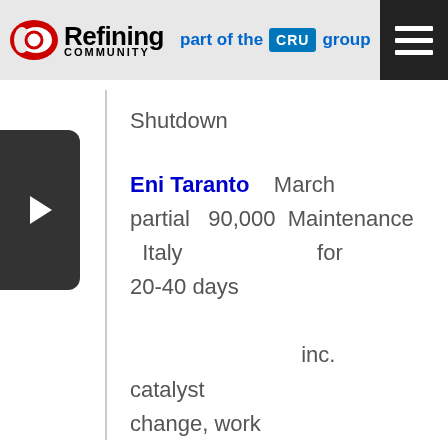Refining Community part of the CRU group
Shutdown
Eni Taranto   March partial   90,000   Maintenance Italy   for 20-40 days   inc. catalyst change, work on decoker, visbreaker